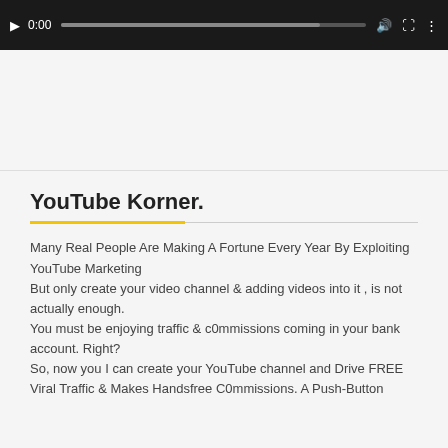[Figure (screenshot): Video player bottom bar showing play button, 0:00 timestamp, progress bar, volume icon, fullscreen icon, and settings icon on a dark background.]
YouTube Korner.
Many Real People Are Making A Fortune Every Year By Exploiting YouTube Marketing
But only create your video channel & adding videos into it , is not actually enough.
You must be enjoying traffic & c0mmissions coming in your bank account. Right?
So, now you I can create your YouTube channel and Drive FREE Viral Traffic & Makes Handsfree C0mmissions. A Push-Button